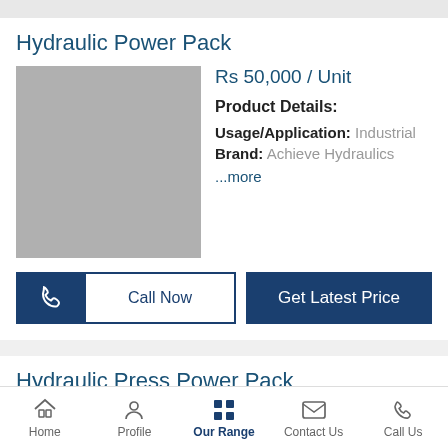Hydraulic Power Pack
Rs 50,000 / Unit
Product Details:
Usage/Application: Industrial
Brand: Achieve Hydraulics
...more
[Figure (photo): Product image placeholder for Hydraulic Power Pack]
Call Now
Get Latest Price
Hydraulic Press Power Pack
Rs 50,000 / Unit
[Figure (photo): Product image placeholder for Hydraulic Press Power Pack]
Home   Profile   Our Range   Contact Us   Call Us